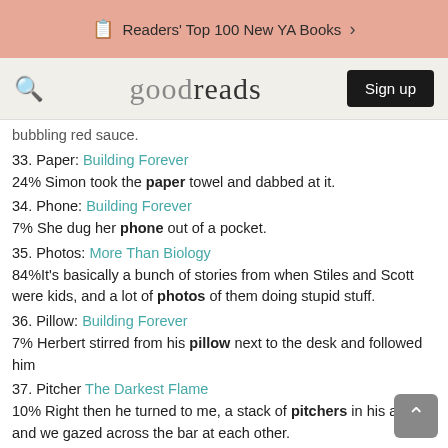Readers' Top 100 New YA Books >
[Figure (screenshot): Goodreads navigation bar with search icon, goodreads logo, and Sign up button]
bubbling red sauce.
33. Paper: Building Forever
24% Simon took the paper towel and dabbed at it.
34. Phone: Building Forever
7% She dug her phone out of a pocket.
35. Photos: More Than Biology
84%It's basically a bunch of stories from when Stiles and Scott were kids, and a lot of photos of them doing stupid stuff.
36. Pillow: Building Forever
7% Herbert stirred from his pillow next to the desk and followed him
37. Pitcher The Darkest Flame
10% Right then he turned to me, a stack of pitchers in his arms, and we gazed across the bar at each other.
38. Plate: Building Forever
80% Charlie looked down and watched the plates of food swim and spread as tears filled his eyes.
39. Radio: More Than Biology